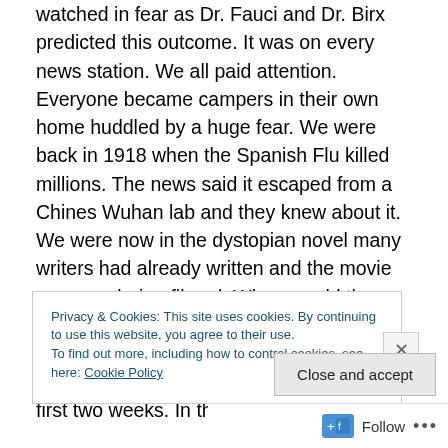watched in fear as Dr. Fauci and Dr. Birx predicted this outcome. It was on every news station. We all paid attention. Everyone became campers in their own home huddled by a huge fear. We were back in 1918 when the Spanish Flu killed millions. The news said it escaped from a Chines Wuhan lab and they knew about it. We were now in the dystopian novel many writers had already written and the movie was now being filmed. When would the guns come out? More fear. Can you hear your heart beat? Hold your kids close! The grocery stores were cleaned out in those first two weeks. In the south we know that
Privacy & Cookies: This site uses cookies. By continuing to use this website, you agree to their use.
To find out more, including how to control cookies, see here: Cookie Policy
Close and accept
Follow